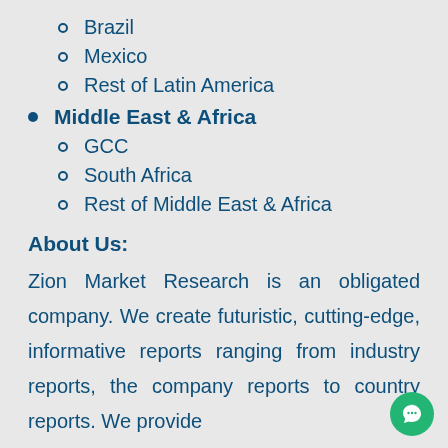Brazil
Mexico
Rest of Latin America
Middle East & Africa
GCC
South Africa
Rest of Middle East & Africa
About Us:
Zion Market Research is an obligated company. We create futuristic, cutting-edge, informative reports ranging from industry reports, the company reports to country reports. We provide